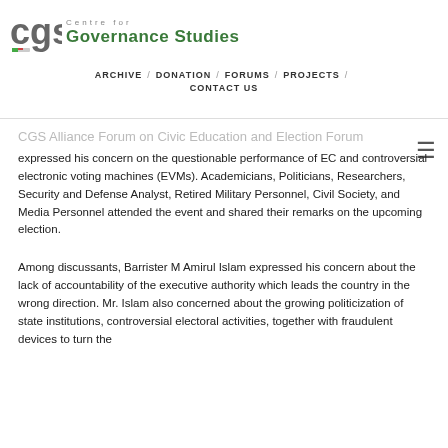[Figure (logo): CGS Centre for Governance Studies logo with stylized CGS text and a flag icon]
ARCHIVE / DONATION / FORUMS / PROJECTS / CONTACT US
expressed his concern on the questionable performance of EC and controversial electronic voting machines (EVMs). Academicians, Politicians, Researchers, Security and Defense Analyst, Retired Military Personnel, Civil Society, and Media Personnel attended the event and shared their remarks on the upcoming election.
Among discussants, Barrister M Amirul Islam expressed his concern about the lack of accountability of the executive authority which leads the country in the wrong direction. Mr. Islam also concerned about the growing politicization of state institutions, controversial electoral activities, together with fraudulent devices to turn the